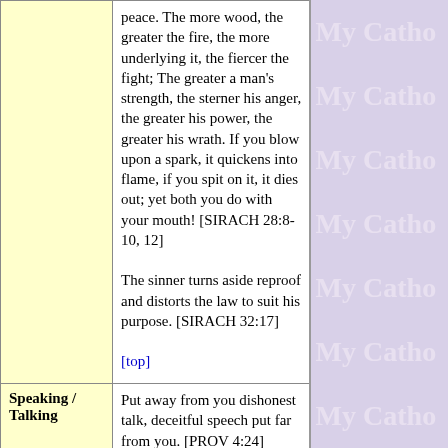peace. The more wood, the greater the fire, the more underlying it, the fiercer the fight; The greater a man's strength, the sterner his anger, the greater his power, the greater his wrath. If you blow upon a spark, it quickens into flame, if you spit on it, it dies out; yet both you do with your mouth! [SIRACH 28:8-10, 12]

The sinner turns aside reproof and distorts the law to suit his purpose. [SIRACH 32:17]

[top]
Speaking / Talking
Put away from you dishonest talk, deceitful speech put far from you. [PROV 4:24]